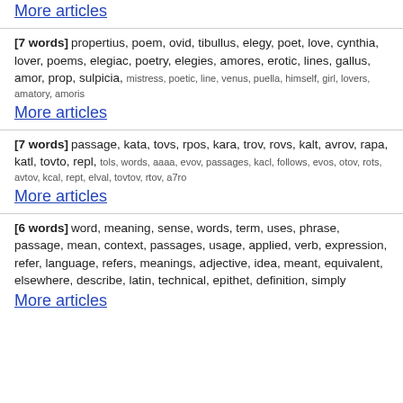More articles
[7 words] propertius, poem, ovid, tibullus, elegy, poet, love, cynthia, lover, poems, elegiac, poetry, elegies, amores, erotic, lines, gallus, amor, prop, sulpicia, mistress, poetic, line, venus, puella, himself, girl, lovers, amatory, amoris
More articles
[7 words] passage, kata, tovs, rpos, kara, trov, rovs, kalt, avrov, rapa, katl, tovto, repl, tols, words, aaaa, evov, passages, kacl, follows, evos, otov, rots, avtov, kcal, rept, elval, tovtov, rtov, a7ro
More articles
[6 words] word, meaning, sense, words, term, uses, phrase, passage, mean, context, passages, usage, applied, verb, expression, refer, language, refers, meanings, adjective, idea, meant, equivalent, elsewhere, describe, latin, technical, epithet, definition, simply
More articles